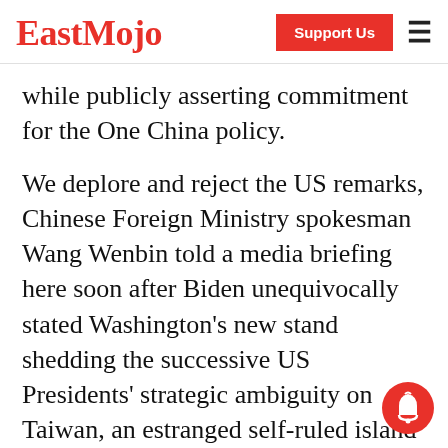EastMojo | Support Us
while publicly asserting commitment for the One China policy.
We deplore and reject the US remarks, Chinese Foreign Ministry spokesman Wang Wenbin told a media briefing here soon after Biden unequivocally stated Washington's new stand shedding the successive US Presidents' strategic ambiguity on Taiwan, an estranged self-ruled island which steadfastly stood against Beijing's attempts to integrate with the mainland.